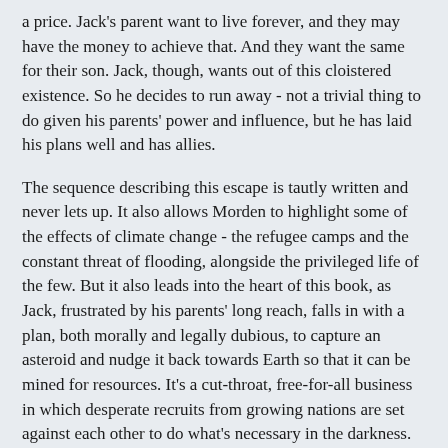a price. Jack's parent want to live forever, and they may have the money to achieve that. And they want the same for their son. Jack, though, wants out of this cloistered existence. So he decides to run away - not a trivial thing to do given his parents' power and influence, but he has laid his plans well and has allies.
The sequence describing this escape is tautly written and never lets up. It also allows Morden to highlight some of the effects of climate change - the refugee camps and the constant threat of flooding, alongside the privileged life of the few. But it also leads into the heart of this book, as Jack, frustrated by his parents' long reach, falls in with a plan, both morally and legally dubious, to capture an asteroid and nudge it back towards Earth so that it can be mined for resources. It's a cut-throat, free-for-all business in which desperate recruits from growing nations are set against each other to do what's necessary in the darkness. Fantastic riches are on offer - riches that could save a nation or boost an individual into the ranks of the 1%, outclassing even Jack's parents.
With so much at stake, with so much desperation, anything is possible once a crew is out there on its own. Jack soon finds himself in fear not just for his future as a free man but for his very